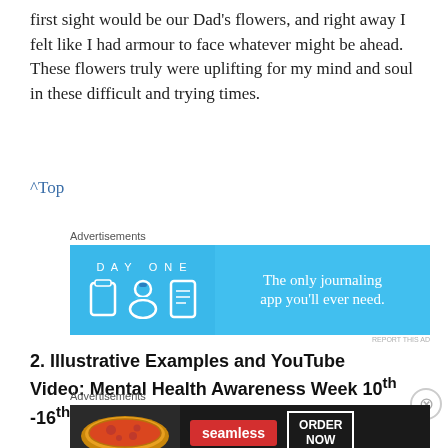first sight would be our Dad's flowers, and right away I felt like I had armour to face whatever might be ahead. These flowers truly were uplifting for my mind and soul in these difficult and trying times.
^Top
[Figure (screenshot): DayOne journaling app advertisement. Blue background with DAY ONE logo, three icons (phone, person, notebook), and text 'The only journaling app you'll ever need.']
2. Illustrative Examples and YouTube Video: Mental Health Awareness Week 10th -16th May 2021
[Figure (screenshot): Seamless food delivery advertisement. Dark background with pizza image, red Seamless badge, and ORDER NOW button.]